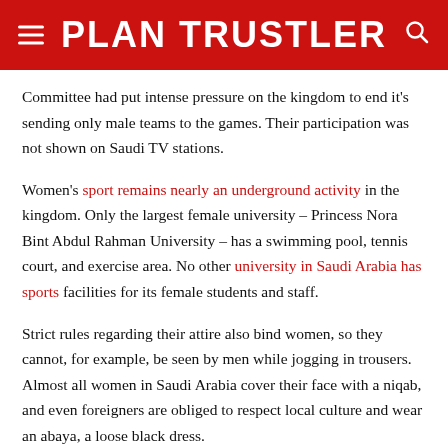PLAN TRUSTLER
Committee had put intense pressure on the kingdom to end it's sending only male teams to the games. Their participation was not shown on Saudi TV stations.
Women's sport remains nearly an underground activity in the kingdom. Only the largest female university – Princess Nora Bint Abdul Rahman University – has a swimming pool, tennis court, and exercise area. No other university in Saudi Arabia has sports facilities for its female students and staff.
Strict rules regarding their attire also bind women, so they cannot, for example, be seen by men while jogging in trousers. Almost all women in Saudi Arabia cover their face with a niqab, and even foreigners are obliged to respect local culture and wear an abaya, a loose black dress.